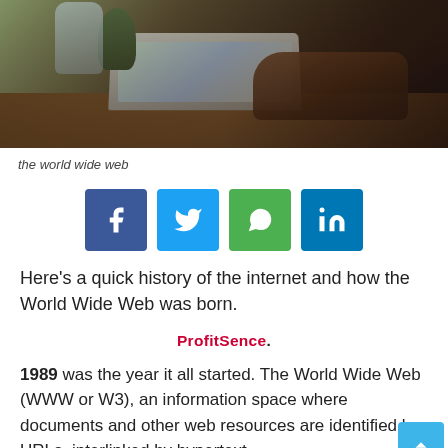[Figure (photo): Person typing on a laptop at a wooden desk with plants and a glass vase in the background, overhead view.]
the world wide web
[Figure (infographic): Social sharing buttons: Facebook, Twitter, WhatsApp, LinkedIn]
Here's a quick history of the internet and how the World Wide Web was born.
ProfitSence.
1989 was the year it all started. The World Wide Web (WWW or W3), an information space where documents and other web resources are identified by URLs, interlinked by hypertext